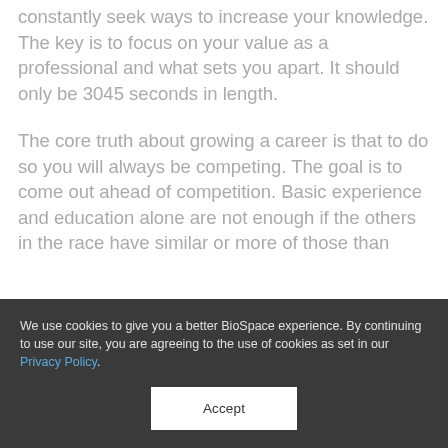constantly seek ways to increase your knowledge. The key is to focus on your value as a professional and what sets you apart. It should only be 3045 seconds in length.
The core truth about growing a career is that to do so you will always be competing. The goal is to come out ahead of competition. Basic experience and education alone are not enough if the others in the race have similar or more of those than
We use cookies to give you a better BioSpace experience. By continuing to use our site, you are agreeing to the use of cookies as set in our Privacy Policy.
Accept